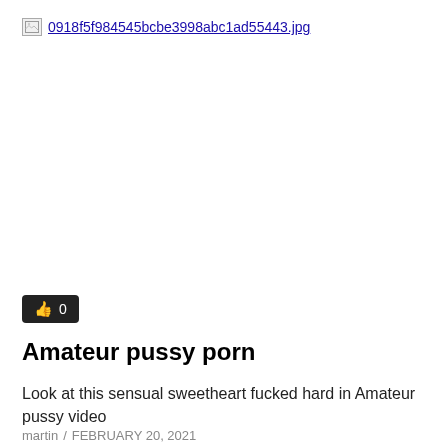[Figure (other): Broken image placeholder with filename link: 0918f5f984545bcbe3998abc1ad55443.jpg]
👍 0
Amateur pussy porn
Look at this sensual sweetheart fucked hard in Amateur pussy video
martin / FEBRUARY 20, 2021